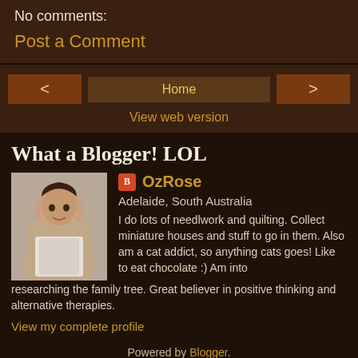No comments:
Post a Comment
< Home >
View web version
What a Blogger! LOL
OzRose
Adelaide, South Australia
I do lots of needlwork and quilting. Collect miniature houses and stuff to go in them. Also am a cat addict, so anything cats goes! Like to eat chocolate :) Am into researching the family tree. Great believer in positive thinking and alternative therapies.
View my complete profile
Powered by Blogger.